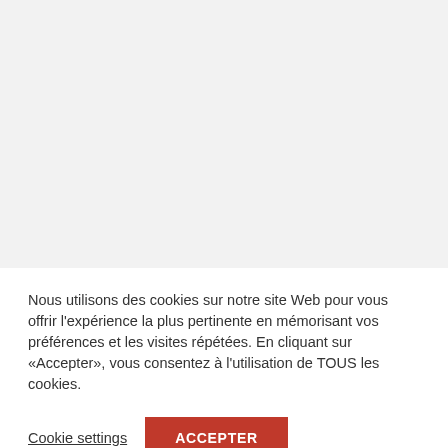[Figure (screenshot): Light grey background area filling the upper portion of the page, representing a blurred or empty web page content area.]
Nous utilisons des cookies sur notre site Web pour vous offrir l'expérience la plus pertinente en mémorisant vos préférences et les visites répétées. En cliquant sur «Accepter», vous consentez à l'utilisation de TOUS les cookies.
Cookie settings
ACCEPTER